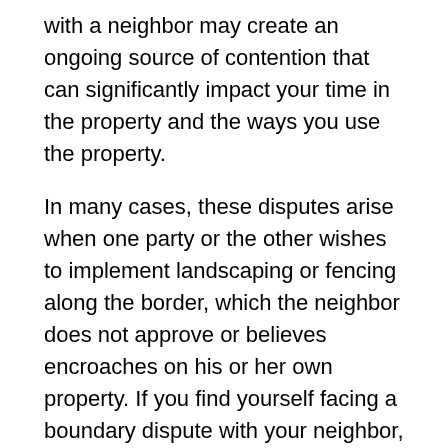with a neighbor may create an ongoing source of contention that can significantly impact your time in the property and the ways you use the property.
In many cases, these disputes arise when one party or the other wishes to implement landscaping or fencing along the border, which the neighbor does not approve or believes encroaches on his or her own property. If you find yourself facing a boundary dispute with your neighbor, you may have a number of tools available to resolve it.
Obtain a professional property survey
Typically, selling or buying a piece of property involves some form of survey to properly